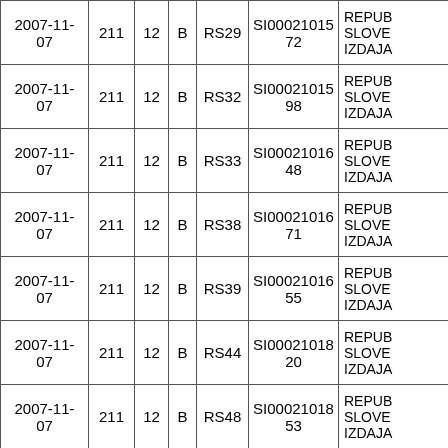| 2007-11-07 | 211 | 12 | B | RS29 | SI0002101572 | REPUB SLOVE IZDAJA |
| 2007-11-07 | 211 | 12 | B | RS32 | SI0002101598 | REPUB SLOVE IZDAJA |
| 2007-11-07 | 211 | 12 | B | RS33 | SI0002101648 | REPUB SLOVE IZDAJA |
| 2007-11-07 | 211 | 12 | B | RS38 | SI0002101671 | REPUB SLOVE IZDAJA |
| 2007-11-07 | 211 | 12 | B | RS39 | SI0002101655 | REPUB SLOVE IZDAJA |
| 2007-11-07 | 211 | 12 | B | RS44 | SI0002101820 | REPUB SLOVE IZDAJA |
| 2007-11-07 | 211 | 12 | B | RS48 | SI0002101853 | REPUB SLOVE IZDAJA |